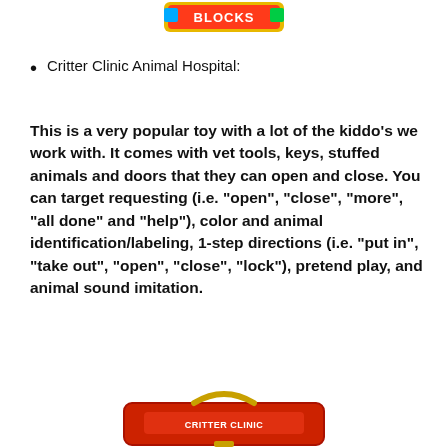[Figure (illustration): Partial view of a toy logo/box at the top of the page showing colorful blocks branding]
Critter Clinic Animal Hospital:
This is a very popular toy with a lot of the kiddo’s we work with. It comes with vet tools, keys, stuffed animals and doors that they can open and close. You can target requesting (i.e. “open”, “close”, “more”, “all done” and “help”), color and animal identification/labeling, 1-step directions (i.e. “put in”, “take out”, “open”, “close”, “lock”), pretend play, and animal sound imitation.
[Figure (photo): Bottom portion of a toy product (Critter Clinic Animal Hospital) showing a red carrying case/bag with gold handle]